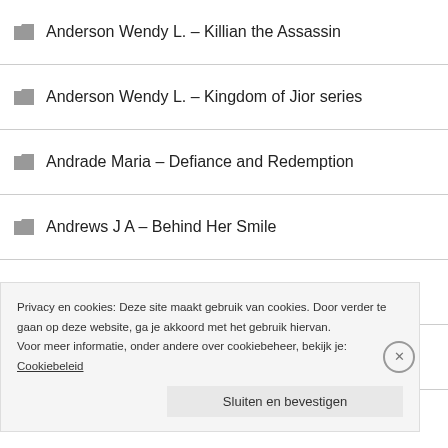Anderson Wendy L. – Killian the Assassin
Anderson Wendy L. – Kingdom of Jior series
Andrade Maria – Defiance and Redemption
Andrews J A – Behind Her Smile
Andrews J A – Glimmer of Hope
Andrews J A – I Let Her Go
Andrews... Not... 7 Min... To Fo...
Privacy en cookies: Deze site maakt gebruik van cookies. Door verder te gaan op deze website, ga je akkoord met het gebruik hiervan. Voor meer informatie, onder andere over cookiebeheer, bekijk je: Cookiebeleid
Sluiten en bevestigen